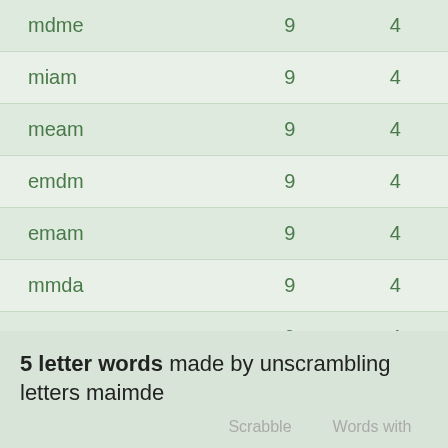| Word | Scrabble | Words with |
| --- | --- | --- |
| mdme | 9 | 4 |
| miam | 9 | 4 |
| meam | 9 | 4 |
| emdm | 9 | 4 |
| emam | 9 | 4 |
| mmda | 9 | 4 |
| amme | 9 | 4 |
5 letter words made by unscrambling letters maimde
Scrabble    Words with